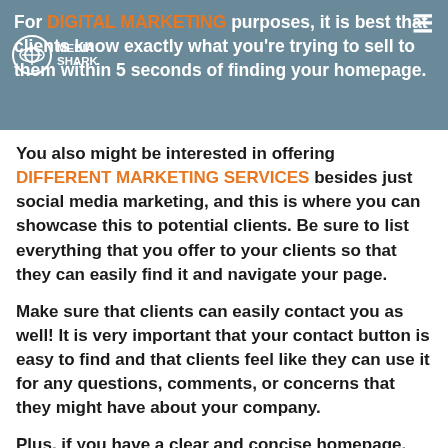For DIGITAL MARKETING purposes, it is best that clients know exactly what you're trying to sell to them within 5 seconds of finding your homepage.
You also might be interested in offering DIFFERENT MARKETING SERVICES besides just social media marketing, and this is where you can showcase this to potential clients. Be sure to list everything that you offer to your clients so that they can easily find it and navigate your page.
Make sure that clients can easily contact you as well! It is very important that your contact button is easy to find and that clients feel like they can use it for any questions, comments, or concerns that they might have about your company.
Plus, if you have a clear and concise homepage, then potential clients will feel more confident in